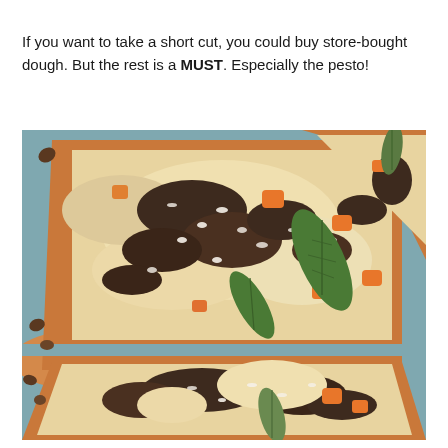If you want to take a short cut, you could buy store-bought dough. But the rest is a MUST. Especially the pesto!
[Figure (photo): Close-up photo of pizza slices on a blue tray, topped with melted cheese, mushrooms, roasted butternut squash, fresh basil and sage leaves, and grated parmesan.]